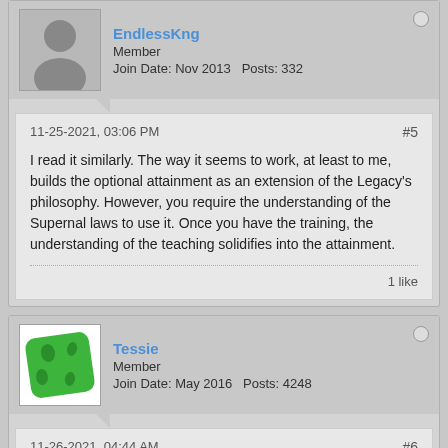EndlessKng
Member
Join Date: Nov 2013  Posts: 332
11-25-2021, 03:06 PM
#5
I read it similarly. The way it seems to work, at least to me, builds the optional attainment as an extension of the Legacy's philosophy. However, you require the understanding of the Supernal laws to use it. Once you have the training, the understanding of the teaching solidifies into the attainment.
1 like
Tessie
Member
Join Date: May 2016  Posts: 4248
11-26-2021, 04:44 AM
#6
Despite everyone calling it optional Attainments, that's not actually true and it's not what the book says. The book clearly states that it's an optional effect for the Attainment, that can be used when you use the